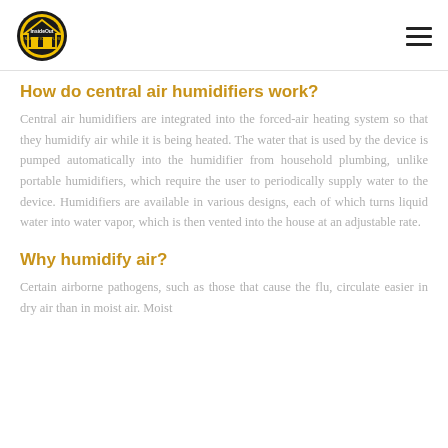[Figure (logo): InsideOut Inspections Plus logo — circular black and yellow badge with house silhouette]
How do central air humidifiers work?
Central air humidifiers are integrated into the forced-air heating system so that they humidify air while it is being heated. The water that is used by the device is pumped automatically into the humidifier from household plumbing, unlike portable humidifiers, which require the user to periodically supply water to the device. Humidifiers are available in various designs, each of which turns liquid water into water vapor, which is then vented into the house at an adjustable rate.
Why humidify air?
Certain airborne pathogens, such as those that cause the flu, circulate easier in dry air than in moist air. Moist